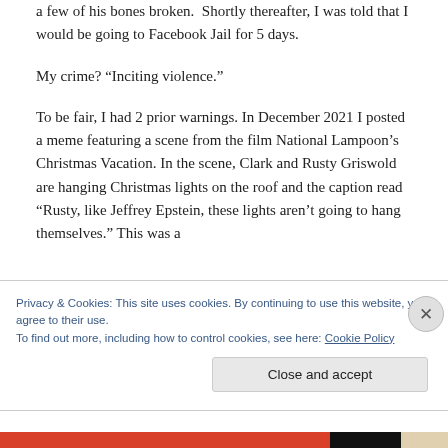a few of his bones broken. Shortly thereafter, I was told that I would be going to Facebook Jail for 5 days.
My crime? “Inciting violence.”
To be fair, I had 2 prior warnings. In December 2021 I posted a meme featuring a scene from the film National Lampoon’s Christmas Vacation. In the scene, Clark and Rusty Griswold are hanging Christmas lights on the roof and the caption read “Rusty, like Jeffrey Epstein, these lights aren’t going to hang themselves.” This was a
Privacy & Cookies: This site uses cookies. By continuing to use this website, you agree to their use.
To find out more, including how to control cookies, see here: Cookie Policy
Close and accept